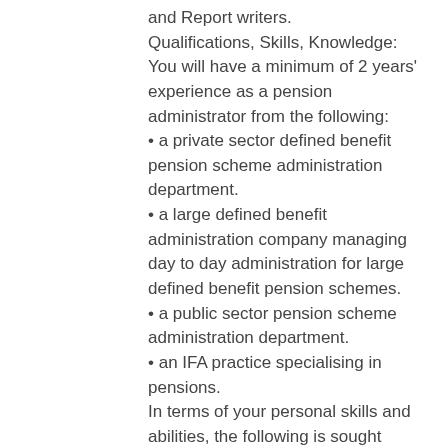and Report writers.
Qualifications, Skills, Knowledge: You will have a minimum of 2 years' experience as a pension administrator from the following:
a private sector defined benefit pension scheme administration department.
a large defined benefit administration company managing day to day administration for large defined benefit pension schemes.
a public sector pension scheme administration department.
an IFA practice specialising in pensions.
In terms of your personal skills and abilities, the following is sought from the successful applicant:
A confident, articulate and numerate individual with an eye